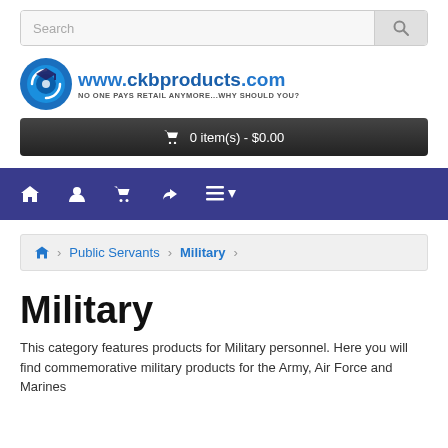[Figure (screenshot): Search bar with text input and search button icon]
[Figure (logo): www.ckbproducts.com logo with tagline NO ONE PAYS RETAIL ANYMORE...WHY SHOULD YOU?]
0 item(s) - $0.00
[Figure (screenshot): Navigation bar with home, account, cart, share, and menu icons on dark blue/purple background]
Home > Public Servants > Military
Military
This category features products for Military personnel. Here you will find commemorative military products for the Army, Air Force and Marines